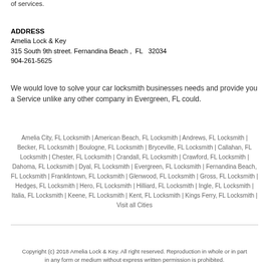of services.
ADDRESS
Amelia Lock & Key
315 South 9th street. Fernandina Beach ,  FL   32034
904-261-5625
We would love to solve your car locksmith businesses needs and provide you a Service unlike any other company in Evergreen, FL could.
Amelia City, FL Locksmith | American Beach, FL Locksmith | Andrews, FL Locksmith | Becker, FL Locksmith | Boulogne, FL Locksmith | Bryceville, FL Locksmith | Callahan, FL Locksmith | Chester, FL Locksmith | Crandall, FL Locksmith | Crawford, FL Locksmith | Dahoma, FL Locksmith | Dyal, FL Locksmith | Evergreen, FL Locksmith | Fernandina Beach, FL Locksmith | Franklintown, FL Locksmith | Glenwood, FL Locksmith | Gross, FL Locksmith | Hedges, FL Locksmith | Hero, FL Locksmith | Hilliard, FL Locksmith | Ingle, FL Locksmith | Italia, FL Locksmith | Keene, FL Locksmith | Kent, FL Locksmith | Kings Ferry, FL Locksmith | Visit all Cities
Copyright (c) 2018 Amelia Lock & Key. All right reserved. Reproduction in whole or in part in any form or medium without express written permission is prohibited.